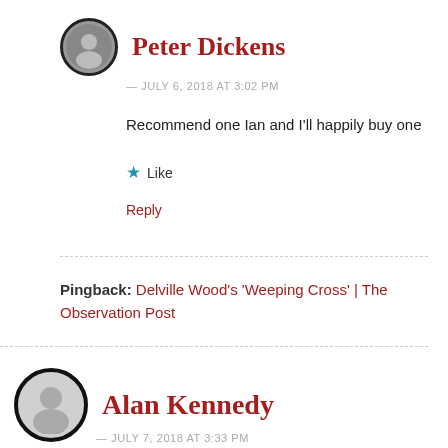Peter Dickens
— JULY 6, 2018 AT 3:02 PM
Recommend one Ian and I'll happily buy one
★ Like
Reply
Pingback: Delville Wood's 'Weeping Cross' | The Observation Post
Alan Kennedy
— JULY 7, 2018 AT 3:33 PM